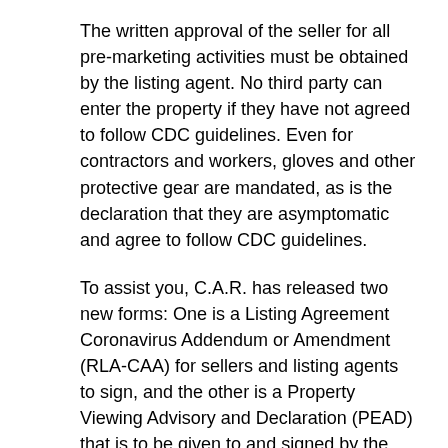The written approval of the seller for all pre-marketing activities must be obtained by the listing agent. No third party can enter the property if they have not agreed to follow CDC guidelines. Even for contractors and workers, gloves and other protective gear are mandated, as is the declaration that they are asymptomatic and agree to follow CDC guidelines.
To assist you, C.A.R. has released two new forms: One is a Listing Agreement Coronavirus Addendum or Amendment (RLA-CAA) for sellers and listing agents to sign, and the other is a Property Viewing Advisory and Declaration (PEAD) that is to be given to and signed by the seller, buyer, agents and anyone else who will be entering a property. You can find both forms here.
Marketing activities